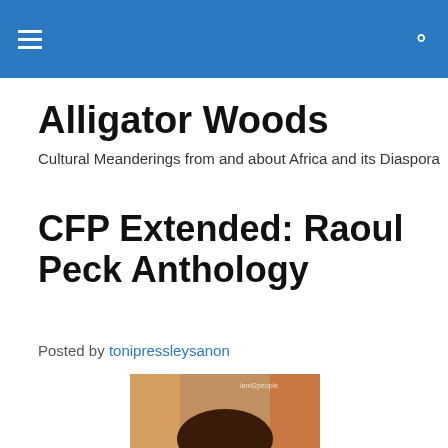Alligator Woods
Alligator Woods
Cultural Meanderings from and about Africa and its Diaspora
CFP Extended: Raoul Peck Anthology
Posted by tonipressleysanon
[Figure (photo): Portrait photo of a man, partially cropped at bottom. Appears to be Raoul Peck. Watermark reads 'land2people' in upper right corner.]